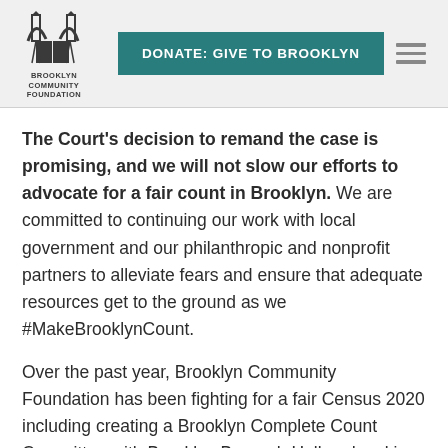DONATE: GIVE TO BROOKLYN | Brooklyn Community Foundation
The Court's decision to remand the case is promising, and we will not slow our efforts to advocate for a fair count in Brooklyn. We are committed to continuing our work with local government and our philanthropic and nonprofit partners to alleviate fears and ensure that adequate resources get to the ground as we #MakeBrooklynCount.
Over the past year, Brooklyn Community Foundation has been fighting for a fair Census 2020 including creating a Brooklyn Complete Count Committee with Brooklyn Borough Hall and making grants to groups working on the frontlines of